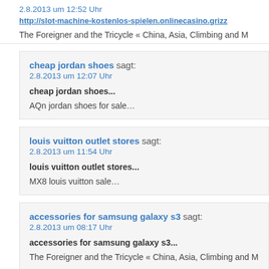2.8.2013 um 12:52 Uhr
http://slot-machine-kostenlos-spielen.onlinecasino.grizz
The Foreigner and the Tricycle « China, Asia, Climbing and M
cheap jordan shoes sagt:
2.8.2013 um 12:07 Uhr

cheap jordan shoes...

AQn jordan shoes for sale…
louis vuitton outlet stores sagt:
2.8.2013 um 11:54 Uhr

louis vuitton outlet stores...

MX8 louis vuitton sale…
accessories for samsung galaxy s3 sagt:
2.8.2013 um 08:17 Uhr

accessories for samsung galaxy s3...

The Foreigner and the Tricycle « China, Asia, Climbing and M